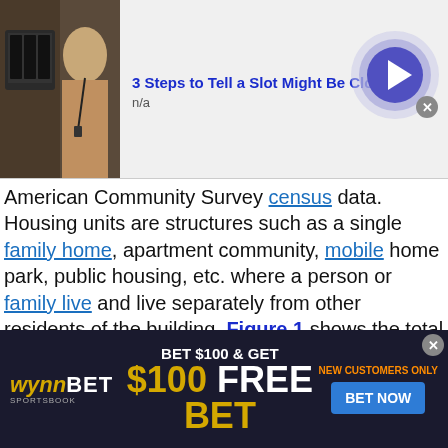[Figure (photo): Advertisement banner at top: thumbnail image of person with slot machines, text '3 Steps to Tell a Slot Might Be Close to' and 'n/a', with blue circular arrow button and close X button]
American Community Survey census data. Housing units are structures such as a single family home, apartment community, mobile home park, public housing, etc. where a person or family live and live separately from other residents of the building. Figure 1 shows the total number of housing units for each city. Independence County shows it has a Housing Units of 16,600 which is the highest of all counties in the greater Independence County region.

Figure 2 illustrates the housing density in the Independence County housing market as measured by housing units per square land mile (includes single family homes, apartments
[Figure (photo): WynnBET Sportsbook advertisement: BET $100 & GET $100 FREE BET, NEW CUSTOMERS ONLY, BET NOW button]